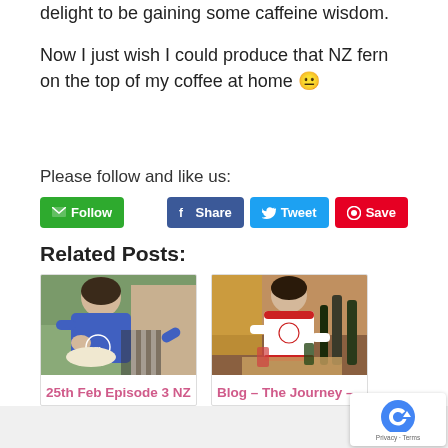delight to be gaining some caffeine wisdom.
Now I just wish I could produce that NZ fern on the top of my coffee at home 😐
Please follow and like us:
[Figure (infographic): Social media buttons: green Follow (email), blue Facebook Share, light blue Twitter Tweet, red Pinterest Save]
Related Posts:
[Figure (photo): Woman in blue MasterChef apron cooking outdoors, related post image]
25th Feb Episode 3 NZ
[Figure (photo): Woman in red and white MasterChef outfit cooking at a table with bottles, related post image]
Blog – The Journey –